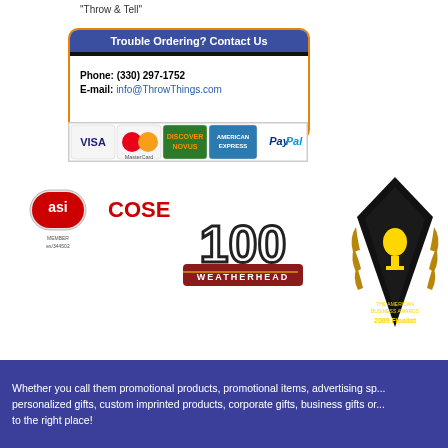"Throw & Tell"
Trouble Ordering? Contact Us
Phone: (330) 297-1752
E-mail: info@ThrowThings.com
[Figure (other): Payment methods strip showing Visa, MasterCard, Discover Novus, American Express, and PayPal logos]
[Figure (logo): AS Member logo (es/344502), COSE logo, Weatherhead 100 logo, The Stevie Awards - The American Business Awards 2009 Finalist logo]
Whether you call them promotional products, promotional items, advertising sp... personalized gifts, custom imprinted products, corporate gifts, business gifts or... to the right place!